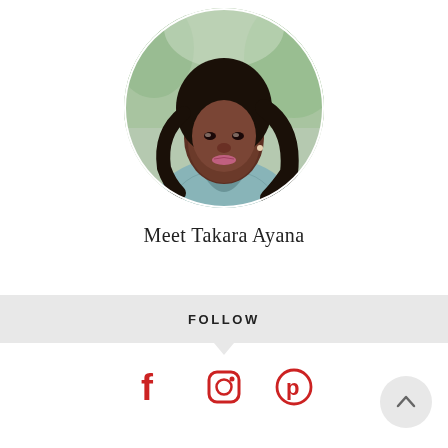[Figure (photo): Circular portrait photo of a young Black woman with long curly dark hair, wearing a light teal/blue v-neck top with a delicate necklace, photographed outdoors with a soft blurred green background.]
Meet Takara Ayana
FOLLOW
[Figure (infographic): Three social media icons in red: Facebook (f), Instagram (camera), and Pinterest (P)]
[Figure (infographic): Back to top button: circular grey button with upward chevron arrow]